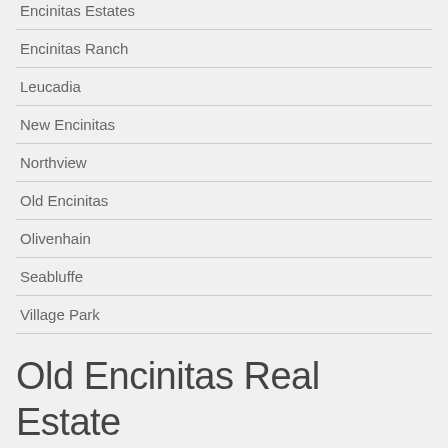Encinitas Estates
Encinitas Ranch
Leucadia
New Encinitas
Northview
Old Encinitas
Olivenhain
Seabluffe
Village Park
Old Encinitas Real Estate